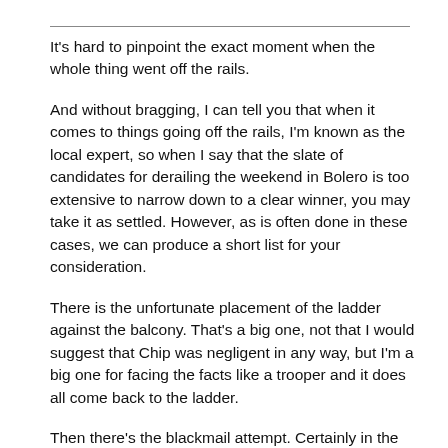It's hard to pinpoint the exact moment when the whole thing went off the rails.
And without bragging, I can tell you that when it comes to things going off the rails, I'm known as the local expert, so when I say that the slate of candidates for derailing the weekend in Bolero is too extensive to narrow down to a clear winner, you may take it as settled. However, as is often done in these cases, we can produce a short list for your consideration.
There is the unfortunate placement of the ladder against the balcony. That's a big one, not that I would suggest that Chip was negligent in any way, but I'm a big one for facing the facts like a trooper and it does all come back to the ladder.
Then there's the blackmail attempt. Certainly in the top three, I would say. Well intentioned, perhaps, but ill advised.